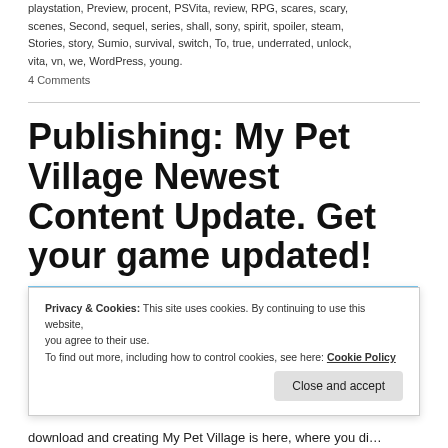playstation, Preview, procent, PSVita, review, RPG, scares, scary, scenes, Second, sequel, series, shall, sony, spirit, spoiler, steam, Stories, story, Sumio, survival, switch, To, true, underrated, unlock, vita, vn, we, WordPress, young.
4 Comments
Publishing: My Pet Village Newest Content Update. Get your game updated!
[Figure (illustration): Illustrated game screenshot showing an anime-style girl character with blonde hair and green eyes in front of a colorful village/nature scene with mountains, water, and trees in the background.]
Privacy & Cookies: This site uses cookies. By continuing to use this website, you agree to their use. To find out more, including how to control cookies, see here: Cookie Policy
Close and accept
download and creating My Pet Village is here, where you di...